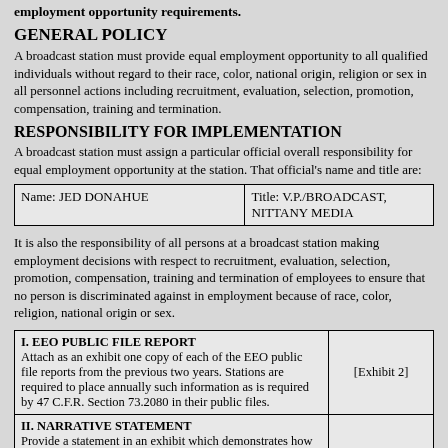employment opportunity requirements.
GENERAL POLICY
A broadcast station must provide equal employment opportunity to all qualified individuals without regard to their race, color, national origin, religion or sex in all personnel actions including recruitment, evaluation, selection, promotion, compensation, training and termination.
RESPONSIBILITY FOR IMPLEMENTATION
A broadcast station must assign a particular official overall responsibility for equal employment opportunity at the station. That official's name and title are:
| Name | Title |
| --- | --- |
| Name: JED DONAHUE | Title: V.P./BROADCAST, NITTANY MEDIA |
It is also the responsibility of all persons at a broadcast station making employment decisions with respect to recruitment, evaluation, selection, promotion, compensation, training and termination of employees to ensure that no person is discriminated against in employment because of race, color, religion, national origin or sex.
| Section | Exhibit |
| --- | --- |
| I. EEO PUBLIC FILE REPORT
Attach as an exhibit one copy of each of the EEO public file reports from the previous two years. Stations are required to place annually such information as is required by 47 C.F.R. Section 73.2080 in their public files. | [Exhibit 2] |
| II. NARRATIVE STATEMENT
Provide a statement in an exhibit which demonstrates how the |  |